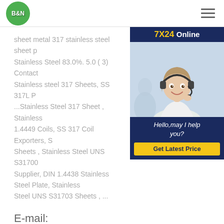[Figure (logo): B&N company logo — circular green badge with white bold text 'B&N']
sheet metal 317 stainless steel sheet p Stainless Steel 83.0%. 5.0 ( 3) Contact Stainless steel 317 Sheets, SS 317L P ...Stainless Steel 317 Sheet , Stainless 1.4449 Coils, SS 317 Coil Exporters, S Sheets , Stainless Steel UNS S31700 Supplier, DIN 1.4438 Stainless Steel Plate, Stainless Steel UNS S31703 Sheets , ...
[Figure (infographic): 7X24 Online chat widget with photo of woman wearing headset, text 'Hello,may I help you?' and a yellow 'Get Latest Price' button]
E-mail:
steelmachining@yeah.net